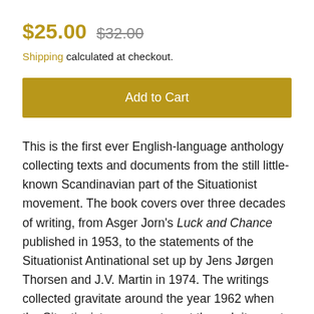$25.00  $32.00
Shipping calculated at checkout.
Add to Cart
This is the first ever English-language anthology collecting texts and documents from the still little-known Scandinavian part of the Situationist movement. The book covers over three decades of writing, from Asger Jorn's Luck and Chance published in 1953, to the statements of the Situationist Antinational set up by Jens Jørgen Thorsen and J.V. Martin in 1974. The writings collected gravitate around the year 1962 when the Situationist movement went through its most